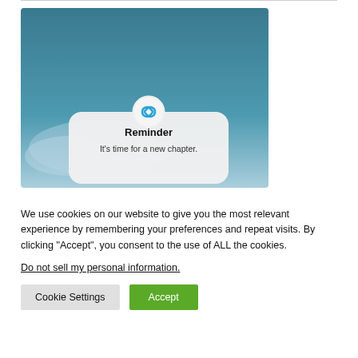[Figure (photo): A smartphone notification card showing a 'Reminder' message with the text 'It's time for a new chapter.' over a teal/blue sky background. The notification card has a rounded white panel with a circular icon at the top.]
We use cookies on our website to give you the most relevant experience by remembering your preferences and repeat visits. By clicking “Accept”, you consent to the use of ALL the cookies.
Do not sell my personal information.
Cookie Settings
Accept